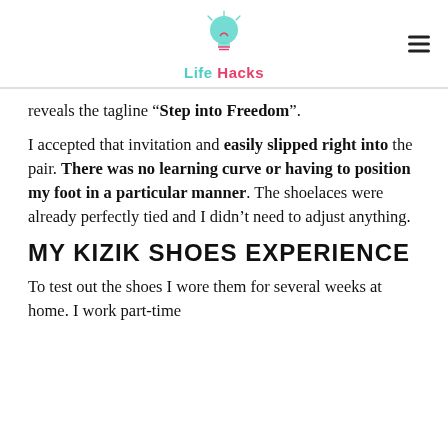Life Hacks
reveals the tagline “Step into Freedom”.
I accepted that invitation and easily slipped right into the pair. There was no learning curve or having to position my foot in a particular manner. The shoelaces were already perfectly tied and I didn’t need to adjust anything.
MY KIZIK SHOES EXPERIENCE
To test out the shoes I wore them for several weeks at home. I work part-time